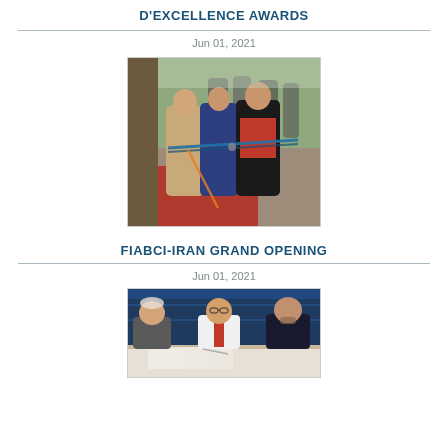D'EXCELLENCE AWARDS
Jun 01, 2021
[Figure (photo): Group of people at a ribbon-cutting ceremony, with two men in the foreground cutting a blue ribbon in front of a doorway. Several others stand in the background outdoors.]
FIABCI-IRAN GRAND OPENING
Jun 01, 2021
[Figure (photo): Three men seated at a table with a blue banner/curtain behind them. The center man appears to be writing or signing documents.]